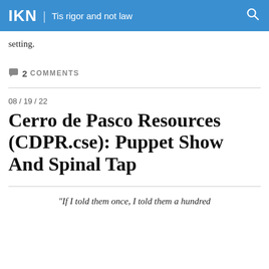IKN | Tis rigor and not law
setting.
2 COMMENTS
08 / 19 / 22
Cerro de Pasco Resources (CDPR.cse): Puppet Show And Spinal Tap
“If I told them once, I told them a hundred